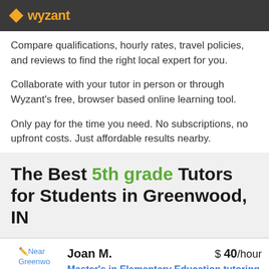wyzant
Compare qualifications, hourly rates, travel policies, and reviews to find the right local expert for you.
Collaborate with your tutor in person or through Wyzant's free, browser based online learning tool.
Only pay for the time you need. No subscriptions, no upfront costs. Just affordable results nearby.
The Best 5th grade Tutors for Students in Greenwood, IN
Joan M. $ 40/hour
Near Greenwood
Master's in Elementary Education tutoring in science, math, English